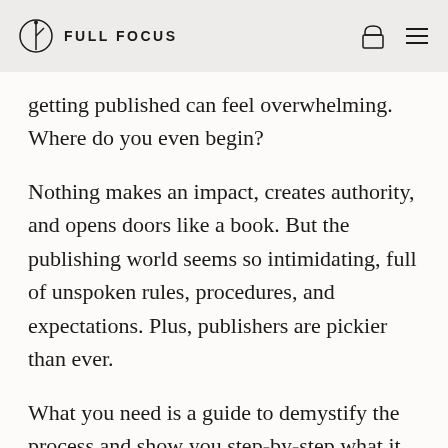FULL FOCUS
getting published can feel overwhelming. Where do you even begin?
Nothing makes an impact, creates authority, and opens doors like a book. But the publishing world seems so intimidating, full of unspoken rules, procedures, and expectations. Plus, publishers are pickier than ever.
What you need is a guide to demystify the process and show you step-by-step what it take your dream out of the clouds and put it on the page. After thirty years in the publishing industry, including as the CEO of one of